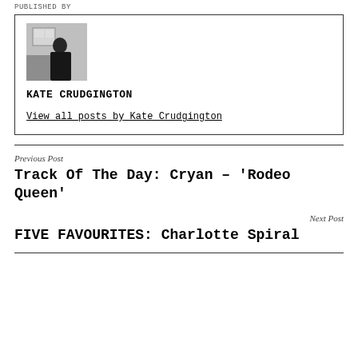PUBLISHED BY
[Figure (photo): Black and white profile photo of Kate Crudgington]
KATE CRUDGINGTON
View all posts by Kate Crudgington
Previous Post
Track Of The Day: Cryan – 'Rodeo Queen'
Next Post
FIVE FAVOURITES: Charlotte Spiral